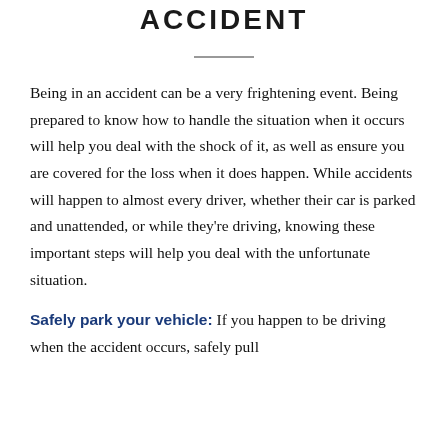ACCIDENT
Being in an accident can be a very frightening event. Being prepared to know how to handle the situation when it occurs will help you deal with the shock of it, as well as ensure you are covered for the loss when it does happen. While accidents will happen to almost every driver, whether their car is parked and unattended, or while they're driving, knowing these important steps will help you deal with the unfortunate situation.
Safely park your vehicle: If you happen to be driving when the accident occurs, safely pull